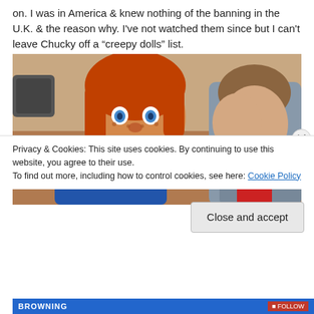on. I was in America & knew nothing of the banning in the U.K. & the reason why. I've not watched them since but I can't leave Chucky off a “creepy dolls” list.
[Figure (photo): Movie still showing Chucky doll (red-haired, blue-eyed doll with freckles) facing a young boy, both seated, from the Child's Play film.]
Privacy & Cookies: This site uses cookies. By continuing to use this website, you agree to their use.
To find out more, including how to control cookies, see here: Cookie Policy
Close and accept